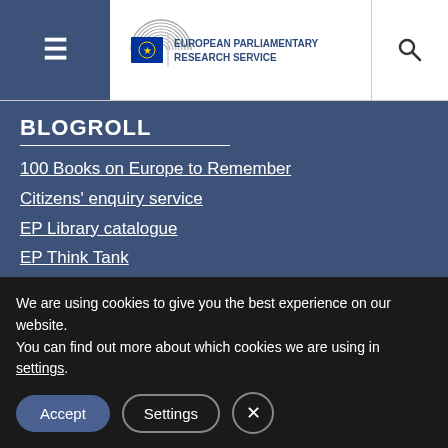European Parliamentary Research Service
BLOGROLL
100 Books on Europe to Remember
Citizens' enquiry service
EP Library catalogue
EP Think Tank
Historical Archives
ORBIS
STOA
URBIS
What Europe does for me
We are using cookies to give you the best experience on our website.
You can find out more about which cookies we are using in settings.